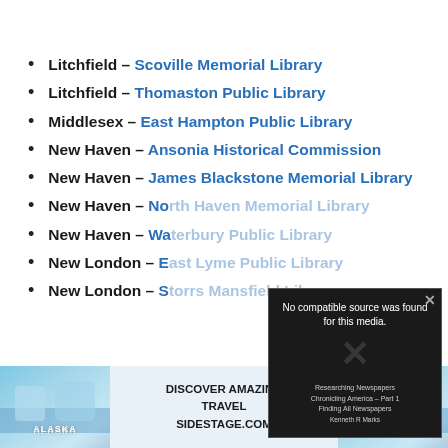Litchfield – Scoville Memorial Library
Litchfield – Thomaston Public Library
Middlesex – East Hampton Public Library
New Haven – Ansonia Historical Commission
New Haven – James Blackstone Memorial Library
New Haven – No[rth Haven]...
New Haven – Wa[...]
New London – E[...]
New London – S[...]
Delaware
[Figure (other): Video overlay showing 'No compatible source was found for this media.' with X close button, over a book about Researching Newspapers / Chronicling America - Part 1 / Finding All Newspapers by Kenneth R Marks. Below: advertisement for Alaska travel on SideStage.com]
[Figure (other): Advertisement banner: DISCOVER AMAZING TRAVEL SIDESTAGE.COM with Alaska glacier images on left and right]